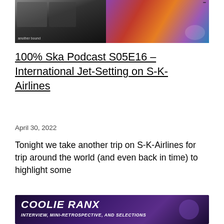[Figure (photo): Top banner image showing album covers and colorful artwork against dark background, with text 'another bound' visible]
100% Ska Podcast S05E16 – International Jet-Setting on S-K-Airlines
April 30, 2022
Tonight we take another trip on S-K-Airlines for trip around the world (and even back in time) to highlight some
CONTINUE READING
[Figure (photo): Bottom banner image with dark purple background showing 'COOLIE RANX' in large white graffiti-style text, and subtitle 'Interview, Mini-Retrospective, and Selections']